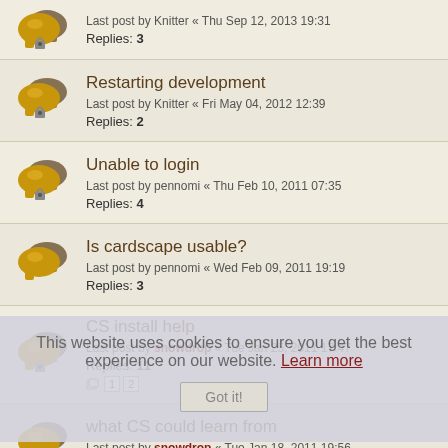Last post by Knitter « Thu Sep 12, 2013 19:31
Replies: 3
Restarting development
Last post by Knitter « Fri May 04, 2012 12:39
Replies: 2
Unable to login
Last post by pennomi « Thu Feb 10, 2011 07:35
Replies: 4
Is cardscape usable?
Last post by pennomi « Wed Feb 09, 2011 19:19
Replies: 3
CS install help
Last post by snowdrop « Tue Jan 25, 2011 17:47
Replies: 11
[pages: 1 2]
what CS could learn from
Last post by snowdrop « Tue Jan 18, 2011 19:56
Replies: 6
suggestions & todo in here
Last post by snowdrop « Sun Jan 16, 2011 22:56
This website uses cookies to ensure you get the best experience on our website. Learn more